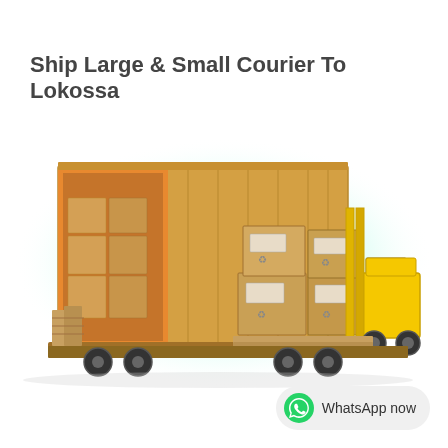Ship Large & Small Courier To Lokossa
[Figure (illustration): A large open shipping container loaded with cardboard boxes on a flatbed truck, with a yellow forklift carrying stacked boxes on a pallet, set against a white background with a soft green/teal glow behind the container.]
WhatsApp now